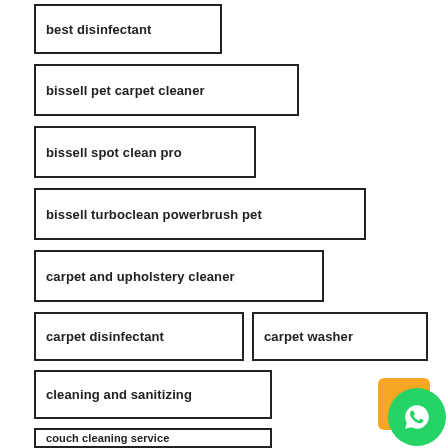best disinfectant
bissell pet carpet cleaner
bissell spot clean pro
bissell turboclean powerbrush pet
carpet and upholstery cleaner
carpet disinfectant
carpet washer
cleaning and sanitizing
couch cleaning service
disinfectant
disinfectant examples
disinfectant liquid
[Figure (logo): WhatsApp icon with orange background square and green circle logo]